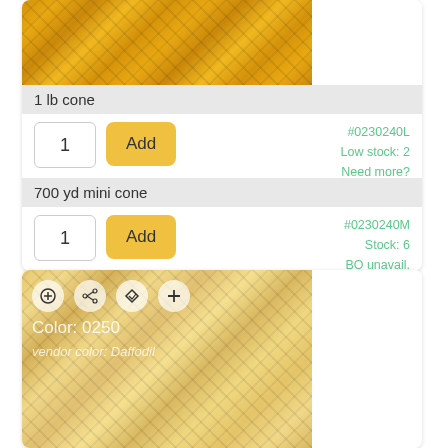[Figure (photo): Golden/yellow yarn cone texture close-up, top portion]
1 lb cone
#0230240L
Low stock: 2
Need more?
700 yd mini cone
#0230240M
Stock: 6
BO unavail.
[Figure (photo): Light yellow/daffodil yarn cone texture close-up with overlay icons and color info: Color: 0250, vendor color: Daffodil]